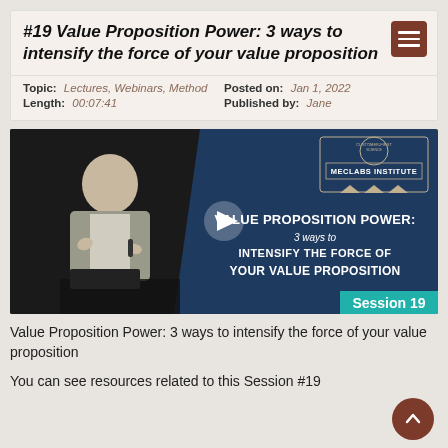#19 Value Proposition Power: 3 ways to intensify the force of your value proposition
Topic: Lectures, Webinars, Method   Posted on: Jan 1, 2022   Length: 00:07:41   Published by: Jane
[Figure (screenshot): Video thumbnail showing a speaker gesturing at a lectern on the left side, and on the right a dark navy slide reading 'VALUE PROPOSITION POWER: 3 ways to INTENSIFY THE FORCE OF YOUR VALUE PROPOSITION' with a MECLABS Institute logo. A play button is visible in the center. A teal bar at the bottom right reads 'Session 19'.]
Value Proposition Power: 3 ways to intensify the force of your value proposition
You can see resources related to this Session #19